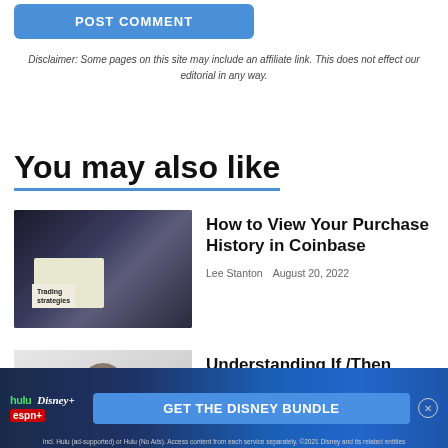[Figure (other): POST COMMENT button — blue rounded rectangle]
Disclaimer: Some pages on this site may include an affiliate link. This does not effect our editorial in any way.
You may also like
[Figure (photo): Photo of a laptop with calculator and Trading Strategies document, coins visible]
How to View Your Purchase History in Coinbase
Lee Stanton   August 20, 2022
[Figure (photo): Photo of a person (man with beard) sitting indoors]
Understanding If /Then Statements in Google
[Figure (other): Advertisement banner: GET THE DISNEY BUNDLE — hulu, Disney+, ESPN+]